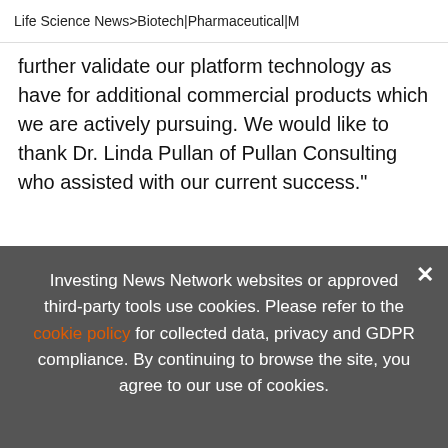Life Science News > Biotech | Pharmaceutical | M
further validate our platform technology as have for additional commercial products which we are actively pursuing. We would like to thank Dr. Linda Pullan of Pullan Consulting who assisted with our current success."
News Provided by GlobeNewswire via QuoteMedia
[Figure (infographic): Advertisement banner: EXCLUSIVE 2022 PHARMA OUTLOOK REPORT. TRENDS. FORECASTS. TOP STOCKS. with orange arrow button and orange vertical bar.]
Investing News Network websites or approved third-party tools use cookies. Please refer to the cookie policy for collected data, privacy and GDPR compliance. By continuing to browse the site, you agree to our use of cookies.